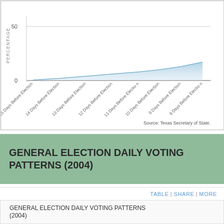[Figure (area-chart): ]
GENERAL ELECTION DAILY VOTING PATTERNS (2004)
TABLE | SHARE | MORE
GENERAL ELECTION DAILY VOTING PATTERNS (2004)